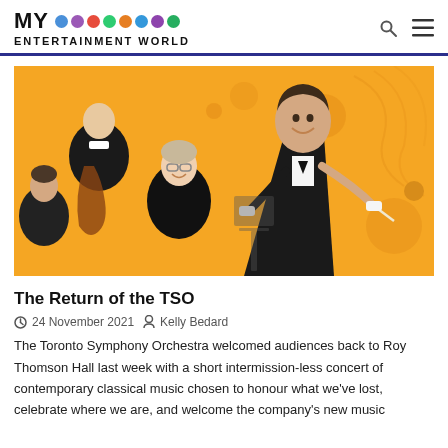MY ENTERTAINMENT WORLD
[Figure (photo): Orchestra conductor in a tuxedo gesturing with a baton, smiling, with musicians playing cellos in the background against an orange decorative background with circles and swirls.]
The Return of the TSO
24 November 2021   Kelly Bedard
The Toronto Symphony Orchestra welcomed audiences back to Roy Thomson Hall last week with a short intermission-less concert of contemporary classical music chosen to honour what we've lost, celebrate where we are, and welcome the company's new music